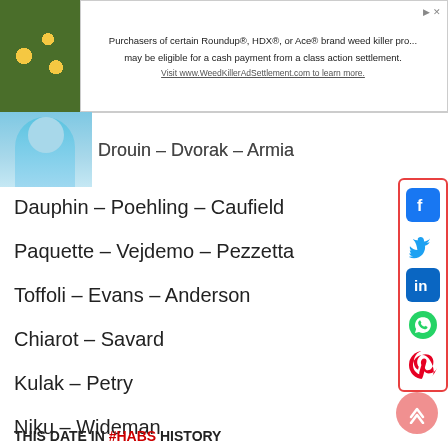[Figure (screenshot): Advertisement banner for Roundup/HDX/Ace weed killer class action settlement. Text: 'Purchasers of certain Roundup®, HDX®, or Ace® brand weed killer pro... may be eligible for a cash payment from a class action settlement. Visit www.WeedKillerAdSettlement.com to learn more.']
[Figure (photo): Partial photo of a person in a light blue shirt, partially visible on left side]
Drouin – Dvorak – Armia
Dauphin – Poehling – Caufield
Paquette – Vejdemo – Pezzetta
Toffoli – Evans – Anderson
Chiarot – Savard
Kulak – Petry
Niku – Wideman
Romanov – Schueneman
THIS DATE IN #HABS HISTORY